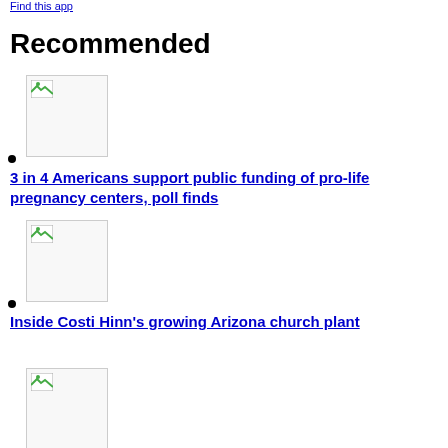Find this app
Recommended
[Figure (photo): Thumbnail image placeholder (broken image icon), first recommended article]
3 in 4 Americans support public funding of pro-life pregnancy centers, poll finds
[Figure (photo): Thumbnail image placeholder (broken image icon), second recommended article]
Inside Costi Hinn's growing Arizona church plant
[Figure (photo): Thumbnail image placeholder (broken image icon), third recommended article]